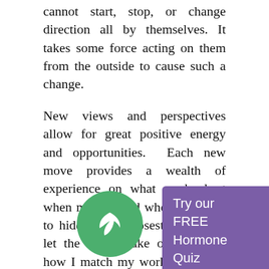cannot start, stop, or change direction all by themselves. It takes some force acting on them from the outside to cause such a change.
New views and perspectives allow for great positive energy and opportunities. Each new move provides a wealth of experience on what works best when moving and when it is time to hide on the closest couch and let the troops take over. Look how I match my workout clothes with[out thought]!
[Figure (logo): Green circle with white leaf icon]
Try our FREE Hormone Quiz
[Figure (logo): Green circle with white chat/message icon (bottom right)]